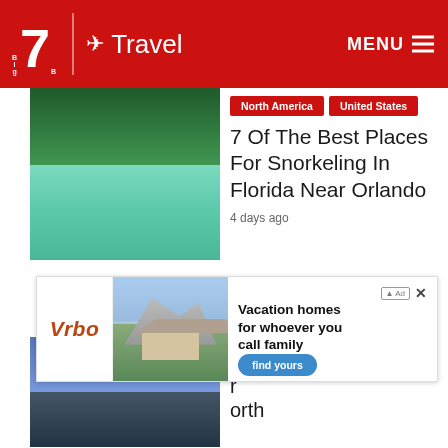Big 7 Travel – MENU
[Figure (photo): Aerial view of clear green turquoise spring water with trees, snorkeling location in Florida]
North America | United States
7 Of The Best Places For Snorkeling In Florida Near Orlando
4 days ago
[Figure (photo): Rocky coastline with blue sky and trees, travel destination]
North America | United States
orth
[Figure (photo): Vrbo advertisement showing vacation homes in mountain setting with text: Vacation homes for whoever you call family]